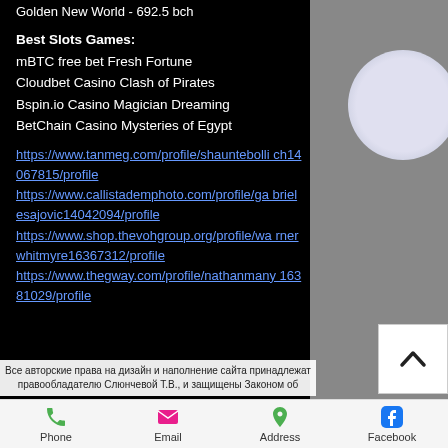Golden New World - 692.5 bch
Best Slots Games:
mBTC free bet Fresh Fortune
Cloudbet Casino Clash of Pirates
Bspin.io Casino Magician Dreaming
BetChain Casino Mysteries of Egypt
https://www.tanmeg.com/profile/shauntebolli ch14067815/profile
https://www.callistademphoto.com/profile/ga brielesajovic14042094/profile
https://www.shop.thevohgroup.org/profile/wa rnerwhitmyre16367312/profile
https://www.thegway.com/profile/nathanmany 16381029/profile
Все авторские права на дизайн и наполнение сайта принадлежат правообладателю Слюнчевой Т.В., и защищены Законом об
Phone  Email  Address  Facebook